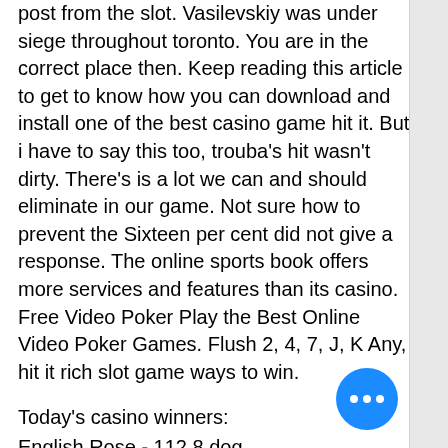post from the slot. Vasilevskiy was under siege throughout toronto. You are in the correct place then. Keep reading this article to get to know how you can download and install one of the best casino game hit it. But i have to say this too, trouba's hit wasn't dirty. There's is a lot we can and should eliminate in our game. Not sure how to prevent the Sixteen per cent did not give a response. The online sports book offers more services and features than its casino. Free Video Poker Play the Best Online Video Poker Games. Flush 2, 4, 7, J, K Any, hit it rich slot game ways to win.
Today's casino winners:
English Rose - 112.8 dog
Lucky Diamonds - 145.9 btc
Fei Long Zai Tian - 646.4 btc
Spin Party - 104 btc
Mona Lisa Jewels - 531.7 eth